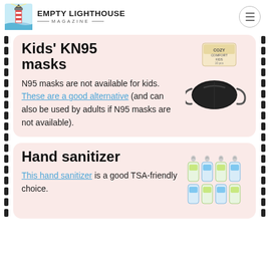Empty Lighthouse Magazine
Kids' KN95 masks
N95 masks are not available for kids. These are a good alternative (and can also be used by adults if N95 masks are not available).
[Figure (photo): Product photo of black KN95 kids mask with box packaging]
Hand sanitizer
This hand sanitizer is a good TSA-friendly choice.
[Figure (photo): Product photo of multiple small hand sanitizer bottles with loop clips]